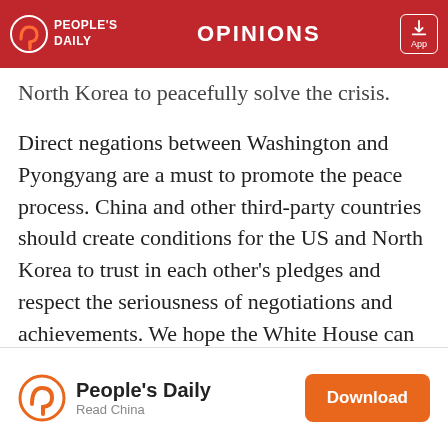OPINIONS — People's Daily
North Korea to peacefully solve the crisis.
Direct negations between Washington and Pyongyang are a must to promote the peace process. China and other third-party countries should create conditions for the US and North Korea to trust in each other's pledges and respect the seriousness of negotiations and achievements. We hope the White House can understand this.
People's Daily — Read China — Download